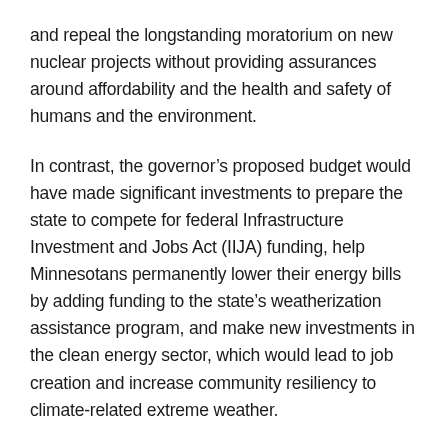and repeal the longstanding moratorium on new nuclear projects without providing assurances around affordability and the health and safety of humans and the environment.
In contrast, the governor's proposed budget would have made significant investments to prepare the state to compete for federal Infrastructure Investment and Jobs Act (IIJA) funding, help Minnesotans permanently lower their energy bills by adding funding to the state's weatherization assistance program, and make new investments in the clean energy sector, which would lead to job creation and increase community resiliency to climate-related extreme weather.
The final bill that came out of conference with the House removed the controversial provisions the Senate had originally passed, and DFLers were successful in making several significant gains, including nearly $17 million for